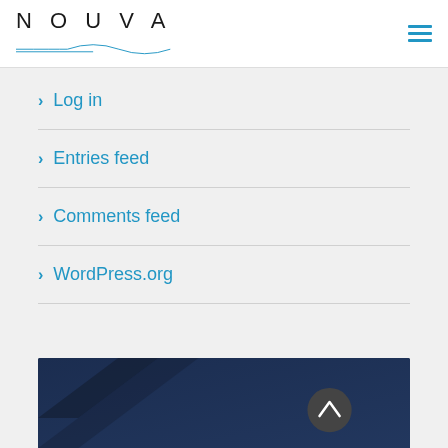NOUVA
> Log in
> Entries feed
> Comments feed
> WordPress.org
[Figure (photo): Dark navy blue footer image with diagonal stripes and a circular scroll-to-top button with upward chevron]